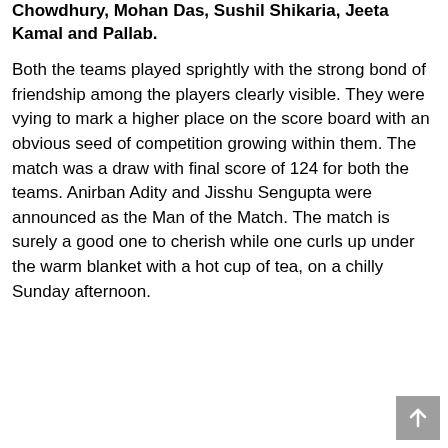Chowdhury, Mohan Das, Sushil Shikaria, Jeeta Kamal and Pallab.
Both the teams played sprightly with the strong bond of friendship among the players clearly visible. They were vying to mark a higher place on the score board with an obvious seed of competition growing within them. The match was a draw with final score of 124 for both the teams. Anirban Adity and Jisshu Sengupta were announced as the Man of the Match. The match is surely a good one to cherish while one curls up under the warm blanket with a hot cup of tea, on a chilly Sunday afternoon.